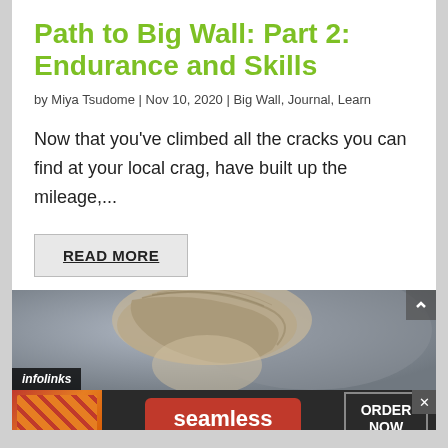Path to Big Wall: Part 2: Endurance and Skills
by Miya Tsudome | Nov 10, 2020 | Big Wall, Journal, Learn
Now that you've climbed all the cracks you can find at your local crag, have built up the mileage,...
READ MORE
[Figure (photo): Advertisement banner showing a person's head of hair in the background, with an Infolinks badge and a Seamless food delivery ad below reading 'seamless' and 'ORDER NOW' with pizza imagery.]